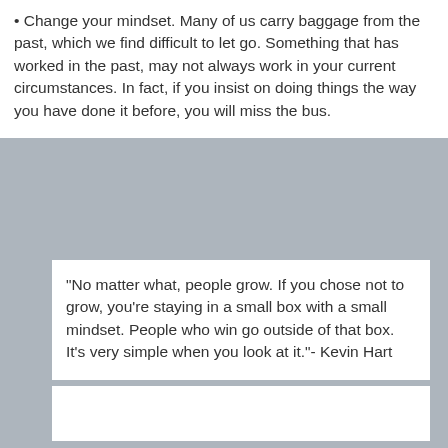• Change your mindset. Many of us carry baggage from the past, which we find difficult to let go. Something that has worked in the past, may not always work in your current circumstances. In fact, if you insist on doing things the way you have done it before, you will miss the bus.
"No matter what, people grow. If you chose not to grow, you're staying in a small box with a small mindset. People who win go outside of that box. It's very simple when you look at it."- Kevin Hart